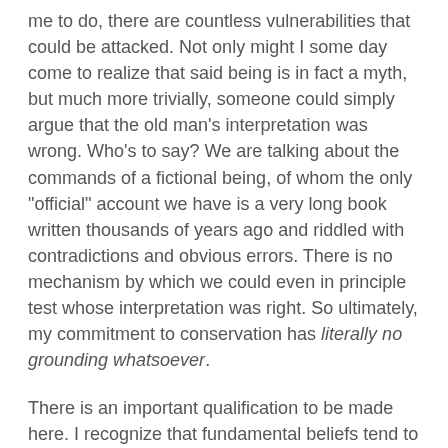me to do, there are countless vulnerabilities that could be attacked. Not only might I some day come to realize that said being is in fact a myth, but much more trivially, someone could simply argue that the old man's interpretation was wrong. Who's to say? We are talking about the commands of a fictional being, of whom the only "official" account we have is a very long book written thousands of years ago and riddled with contradictions and obvious errors. There is no mechanism by which we could even in principle test whose interpretation was right. So ultimately, my commitment to conservation has literally no grounding whatsoever.
There is an important qualification to be made here. I recognize that fundamental beliefs tend to be far more resistant to change than derived beliefs, and that could seem to contradict what I am saying. After all, it probably would be easier, for example, to convince someone like me that anthropogenic global warming was a hoax than it would be to convince a committed Christian that Jesus never existed. I doubt I ever shall be convinced of such a thing, but we could easily talk in principle about what kinds of new information and arguments would convince me; whereas it is impossible